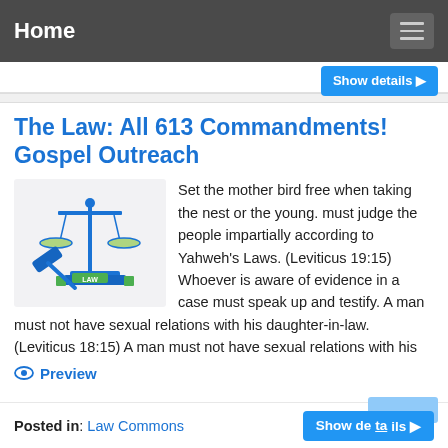Home
The Law: All 613 Commandments! Gospel Outreach
[Figure (illustration): Icon showing scales of justice and a gavel with a book labeled LAW, in blue and green colors on a light gray background]
Set the mother bird free when taking the nest or the young. must judge the people impartially according to Yahweh's Laws. (Leviticus 19:15) Whoever is aware of evidence in a case must speak up and testify. A man must not have sexual relations with his daughter-in-law. (Leviticus 18:15) A man must not have sexual relations with his
Preview
Posted in: Law Commons
Show details ▶